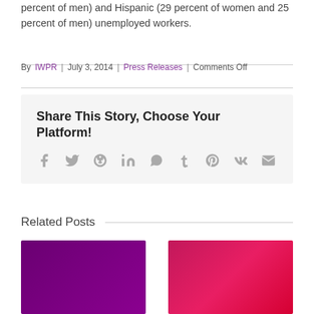percent of men) and Hispanic (29 percent of women and 25 percent of men) unemployed workers.
By IWPR | July 3, 2014 | Press Releases | Comments Off
Share This Story, Choose Your Platform!
[Figure (infographic): Social sharing icons: Facebook, Twitter, Reddit, LinkedIn, WhatsApp, Tumblr, Pinterest, Vk, Email]
Related Posts
[Figure (photo): Purple gradient thumbnail image]
[Figure (photo): Pink-red gradient thumbnail image]